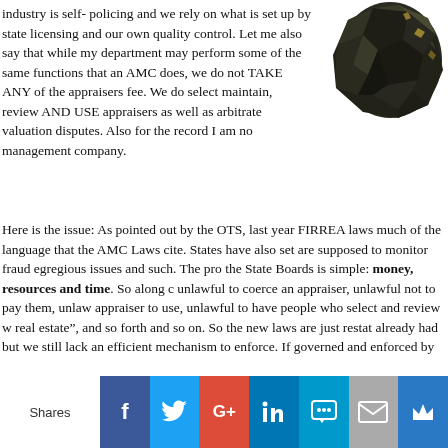industry is self- policing and we rely on what is set up by state licensing and our own quality control. Let me also say that while my department may perform some of the same functions that an AMC does, we do not TAKE ANY of the appraisers fee. We do select maintain, review AND USE appraisers as well as arbitrate valuation disputes. Also for the record I am not management company.
[Figure (photo): A dark crystalline mineral/rock specimen photographed against a white background]
Here is the issue: As pointed out by the OTS, last year FIRREA laws much of the language that the AMC Laws cite. States have also set are supposed to monitor fraud egregious issues and such. The pro the State Boards is simple: money, resources and time. So along c unlawful to coerce an appraiser, unlawful not to pay them, unlaw appraiser to use, unlawful to have people who select and review w real estate", and so forth and so on. So the new laws are just restat already had but we still lack an efficient mechanism to enforce. If governed and enforced by the state boards who are short on cash makes AMC laws different? Currently 18 states have such laws on